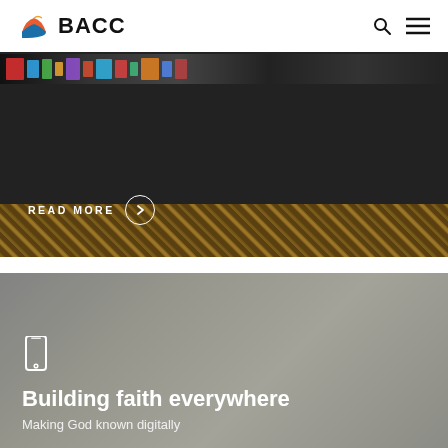BACC
[Figure (photo): Photo of a table covered with a dark tablecloth with various items on top, decorative golden patterned fabric visible at the bottom. A 'READ MORE' button with a circular arrow icon is overlaid on the image.]
[Figure (photo): Photo of an interior room with a semi-transparent gray overlay. A smartphone icon is displayed, with bold white text 'Building faith everywhere' and subtitle 'Making God known digitally'.]